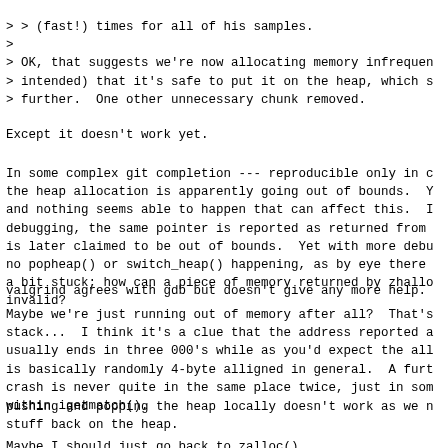> > (fast!) times for all of his samples.
>
> OK, that suggests we're now allocating memory infrequen
> intended) that it's safe to put it on the heap, which s
> further.  One other unnecessary chunk removed.
Except it doesn't work yet.
In some complex git completion --- reproducible only in c
the heap allocation is apparently going out of bounds.  Y
and nothing seems able to happen that can affect this.  I
debugging, the same pointer is reported as returned from
is later claimed to be out of bounds.  Yet with more debu
no popheap() or switch_heap() happening, as by eye there
a bit stuck; how can a piece of memory returned by zhallo
invalid?
valgrind agrees with gdb but doesn't give any more help.
Maybe we're just running out of memory after all?  That's
stack...  I think it's a clue that the address reported a
usually ends in three 000's while as you'd expect the all
is basically randomly 4-byte alligned in general.  A furt
crash is never quite in the same place twice, just in som
within igetmatch().
pushing and popping the heap locally doesn't work as we n
stuff back on the heap.
Maybe I should just go back to zalloc().